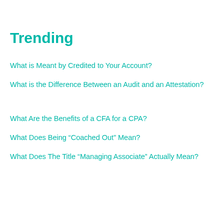Trending
What is Meant by Credited to Your Account?
What is the Difference Between an Audit and an Attestation?
What Are the Benefits of a CFA for a CPA?
What Does Being “Coached Out” Mean?
What Does The Title “Managing Associate” Actually Mean?